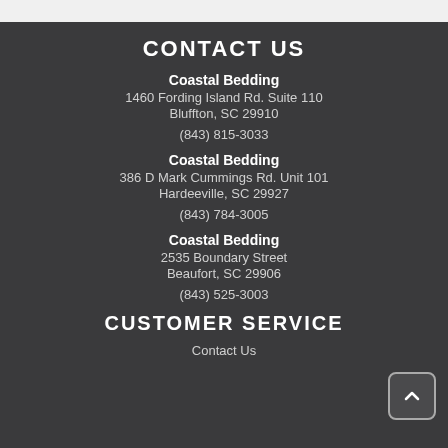CONTACT US
Coastal Bedding
1460 Fording Island Rd. Suite 110
Bluffton, SC 29910
(843) 815-3033
Coastal Bedding
386 D Mark Cummings Rd. Unit 101
Hardeeville, SC 29927
(843) 784-3005
Coastal Bedding
2535 Boundary Street
Beaufort, SC 29906
(843) 525-3003
CUSTOMER SERVICE
Contact Us